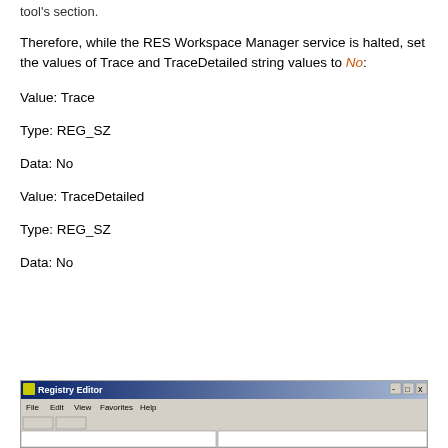tool's section.
Therefore, while the RES Workspace Manager service is halted, set the values of Trace and TraceDetailed string values to No:
Value: Trace
Type: REG_SZ
Data: No
Value: TraceDetailed
Type: REG_SZ
Data: No
[Figure (screenshot): Registry Editor window showing menu bar with File, Edit, View, Favorites, Help options and window control buttons (-|□|x)]